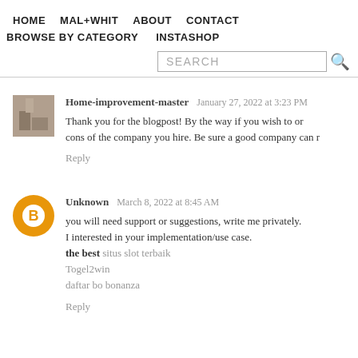HOME   MAL+WHIT   ABOUT   CONTACT   BROWSE BY CATEGORY   INSTASHOP
SEARCH
Home-improvement-master  January 27, 2022 at 3:23 PM
Thank you for the blogpost! By the way if you wish to or cons of the company you hire. Be sure a good company can r
Reply
Unknown  March 8, 2022 at 8:45 AM
you will need support or suggestions, write me privately.
I interested in your implementation/use case.
the best situs slot terbaik
Togel2win
daftar bo bonanza
Reply